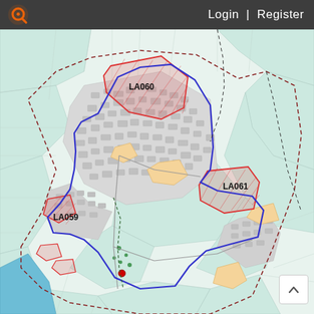Login | Register
[Figure (map): Ordnance Survey style planning map showing land allocations LA059, LA060, LA061 with blue boundary outlines, red hatched areas indicating development zones, teal/mint shading for open land, and dashed red boundary lines around a rural town area.]